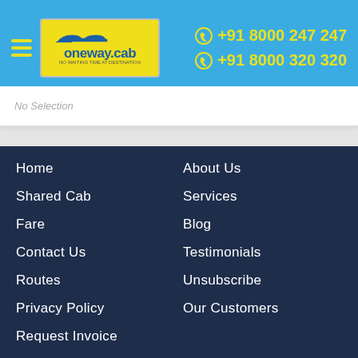[Figure (logo): oneway.cab logo with hamburger menu and phone numbers in blue header]
No Selection
Home
About Us
Shared Cab
Services
Fare
Blog
Contact Us
Testimonials
Routes
Unsubscribe
Privacy Policy
Our Customers
Request Invoice
Vendor Registarion